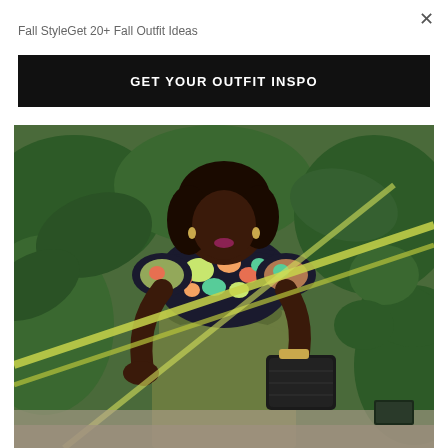×
Fall StyleGet 20+ Fall Outfit Ideas
GET YOUR OUTFIT INSPO
[Figure (photo): A woman wearing a colorful floral off-shoulder crop top and olive green pencil skirt, holding a black clutch bag with a gold bracelet, standing in front of green tropical foliage. Yellow stems cross diagonally in front of her.]